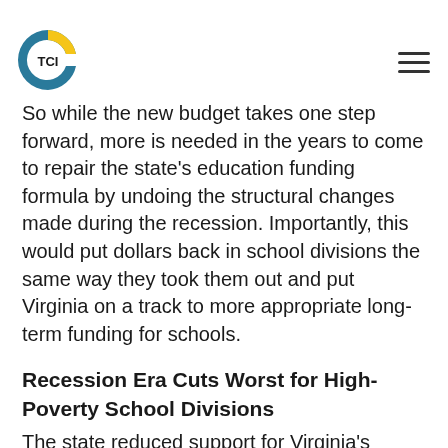TCI
So while the new budget takes one step forward, more is needed in the years to come to repair the state's education funding formula by undoing the structural changes made during the recession. Importantly, this would put dollars back in school divisions the same way they took them out and put Virginia on a track to more appropriate long-term funding for schools.
Recession Era Cuts Worst for High-Poverty School Divisions
The state reduced support for Virginia's schools during the recession as part of broad cuts in state services as state revenues declined. These reductions added up to $800 million per year in outcomes 2008 (after adjusting for inflation) and